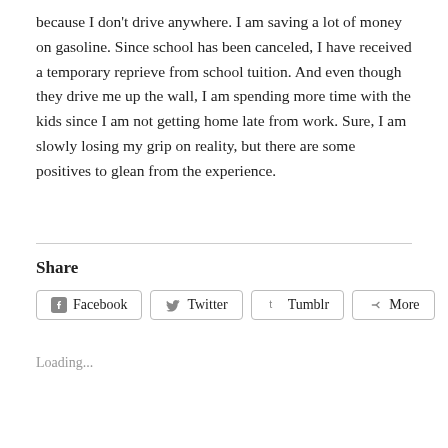because I don't drive anywhere. I am saving a lot of money on gasoline. Since school has been canceled, I have received a temporary reprieve from school tuition. And even though they drive me up the wall, I am spending more time with the kids since I am not getting home late from work. Sure, I am slowly losing my grip on reality, but there are some positives to glean from the experience.
Share
Facebook  Twitter  Tumblr  More
Loading...